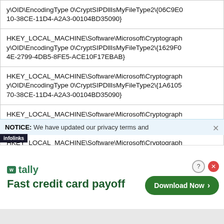| y\OID\EncodingType 0\CryptSIPDllIsMyFileType2\{06C9E010-38CE-11D4-A2A3-00104BD35090} |
| HKEY_LOCAL_MACHINE\Software\Microsoft\Cryptography\OID\EncodingType 0\CryptSIPDllIsMyFileType2\{1629F04E-2799-4DB5-8FE5-ACE10F17EBAB} |
| HKEY_LOCAL_MACHINE\Software\Microsoft\Cryptography\OID\EncodingType 0\CryptSIPDllIsMyFileType2\{1A610570-38CE-11D4-A2A3-00104BD35090} |
| HKEY_LOCAL_MACHINE\Software\Microsoft\Cryptography\OID\EncodingType 1 |
| HKEY_LOCAL_MACHINE\Software\Microsoft\Cryptography\OID\EncodingType 1\CryptSIPDllIsMyFileType2 |
NOTICE: We have updated our privacy terms and
[Figure (screenshot): An advertisement for Tally app showing 'Fast credit card payoff' with a green Download Now button and close/help icons.]